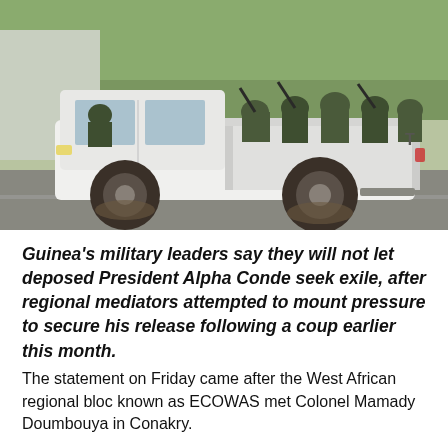[Figure (photo): Military soldiers riding in the back and cab of a white pickup truck on a road, wearing camouflage uniforms. The truck appears muddy. Taken in an urban setting with green foliage in the background.]
Guinea's military leaders say they will not let deposed President Alpha Conde seek exile, after regional mediators attempted to mount pressure to secure his release following a coup earlier this month.
The statement on Friday came after the West African regional bloc known as ECOWAS met Colonel Mamady Doumbouya in Conakry.